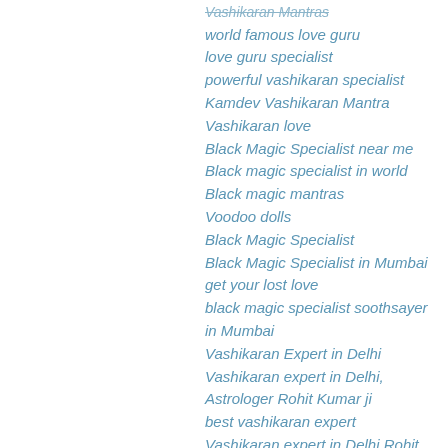Vashikaran Mantras
world famous love guru
love guru specialist
powerful vashikaran specialist
Kamdev Vashikaran Mantra
Vashikaran love
Black Magic Specialist near me
Black magic specialist in world
Black magic mantras
Voodoo dolls
Black Magic Specialist
Black Magic Specialist in Mumbai
get your lost love
black magic specialist soothsayer in Mumbai
Vashikaran Expert in Delhi
Vashikaran expert in Delhi, Astrologer Rohit Kumar ji
best vashikaran expert
Vashikaran expert in Delhi Rohit Kumar Ji
best Vashikaran expert mantras
Vashikaran Specialist
vashikaran